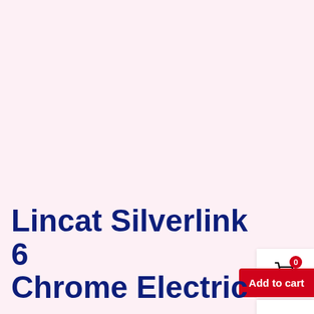[Figure (screenshot): Shopping cart icon with red badge showing 0, on white background panel]
[Figure (screenshot): User/account icon on white background panel]
[Figure (screenshot): Red 'Add to cart' button]
Lincat Silverlink 6 Chrome Electric